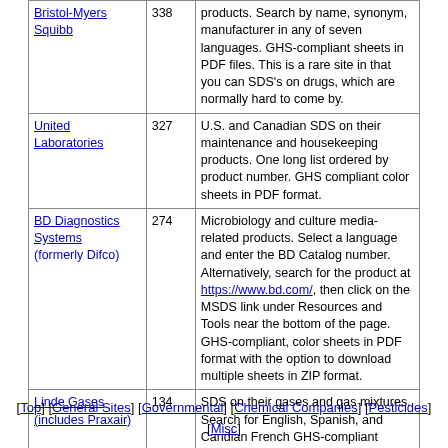| Company | Count | Description |
| --- | --- | --- |
| Bristol-Myers Squibb | 338 | products. Search by name, synonym, manufacturer in any of seven languages. GHS-compliant sheets in PDF files. This is a rare site in that you can SDS's on drugs, which are normally hard to come by. |
| United Laboratories | 327 | U.S. and Canadian SDS on their maintenance and housekeeping products. One long list ordered by product number. GHS compliant color sheets in PDF format. |
| BD Diagnostics Systems (formerly Difco) | 274 | Microbiology and culture media-related products. Select a language and enter the BD Catalog number. Alternatively, search for the product at https://www.bd.com/, then click on the MSDS link under Resources and Tools near the bottom of the page. GHS-compliant, color sheets in PDF format with the option to download multiple sheets in ZIP format. |
| Linde Gases (includes Praxair) | 134 | SDS on their gases and gas mixtures. Search for English, Spanish, and Candian French GHS-compliant sheets in PDF format. This is their US site; additional countries are also available. |
| Alken-Murray Corporation | 127 | SDS on pollution control products (degreasers, microbials, antiodorants etc.). GHS-compliant, color sheets in HTML format. |
[Top] [General Sites] [Governmental] [Chemical Companies] [Pesticides] [Misc]